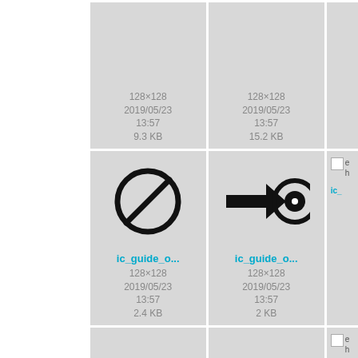[Figure (screenshot): File browser grid view showing icon thumbnails with metadata. Top row: two icon cells each showing 128×128, 2019/05/23 13:57, with sizes 9.3 KB and 15.2 KB, plus a partial third cell. Middle row: ic_guide_o... (prohibition circle icon, 128×128, 2019/05/23 13:57, 2.4 KB), ic_guide_o... (arrow-to-target icon, 128×128, 2019/05/23 13:57, 2 KB), partial third cell. Bottom row: ic_hide_alt... (broken image: manual:user_guide:ic_hide_alt.png, 128×128), ic_hint_alt... (broken image: manual:user_guide:ic_hint_alt.png, 128×128), partial third cell.]